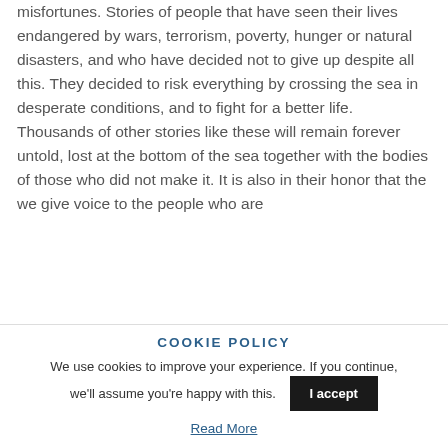misfortunes. Stories of people that have seen their lives endangered by wars, terrorism, poverty, hunger or natural disasters, and who have decided not to give up despite all this. They decided to risk everything by crossing the sea in desperate conditions, and to fight for a better life.
Thousands of other stories like these will remain forever untold, lost at the bottom of the sea together with the bodies of those who did not make it. It is also in their honor that the we give voice to the people who are
COOKIE POLICY
We use cookies to improve your experience. If you continue, we'll assume you're happy with this.
I accept
Read More